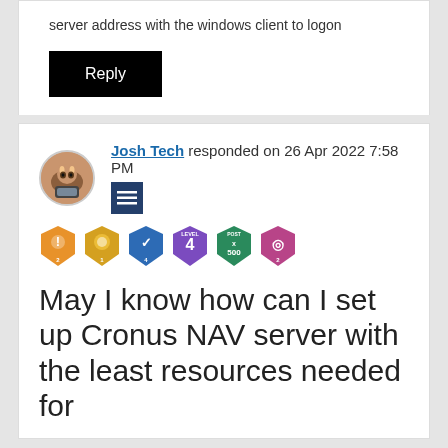server address with the windows client to logon
[Figure (other): Black Reply button]
Josh Tech responded on 26 Apr 2022 7:58 PM
[Figure (other): User avatar showing a small animal at a computer, and menu icon badges row with 6 community badges]
May I know how can I set up Cronus NAV server with the least resources needed for